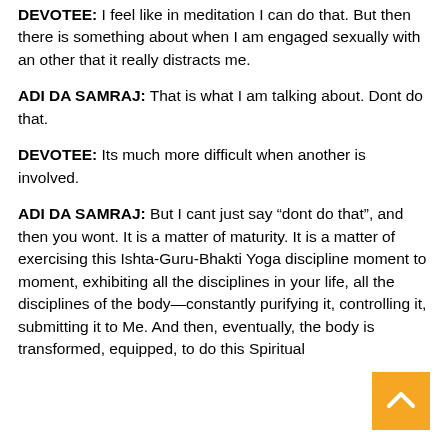DEVOTEE: I feel like in meditation I can do that. But then there is something about when I am engaged sexually with an other that it really distracts me.
ADI DA SAMRAJ: That is what I am talking about. Dont do that.
DEVOTEE: Its much more difficult when another is involved.
ADI DA SAMRAJ: But I cant just say “dont do that”, and then you wont. It is a matter of maturity. It is a matter of exercising this Ishta-Guru-Bhakti Yoga discipline moment to moment, exhibiting all the disciplines in your life, all the disciplines of the body—constantly purifying it, controlling it, submitting it to Me. And then, eventually, the body is transformed, equipped, to do this Spiritual